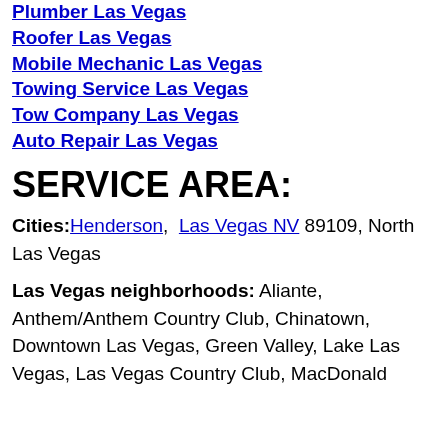Plumber Las Vegas
Roofer Las Vegas
Mobile Mechanic Las Vegas
Towing Service Las Vegas
Tow Company Las Vegas
Auto Repair Las Vegas
SERVICE AREA:
Cities: Henderson, Las Vegas NV 89109, North Las Vegas
Las Vegas neighborhoods: Aliante, Anthem/Anthem Country Club, Chinatown, Downtown Las Vegas, Green Valley, Lake Las Vegas, Las Vegas Country Club, MacDonald